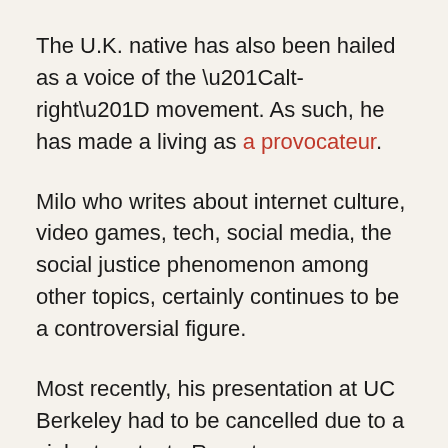The U.K. native has also been hailed as a voice of the “alt-right” movement. As such, he has made a living as a provocateur.
Milo who writes about internet culture, video games, tech, social media, the social justice phenomenon among other topics, certainly continues to be a controversial figure.
Most recently, his presentation at UC Berkeley had to be cancelled due to a violent protest . Reports say